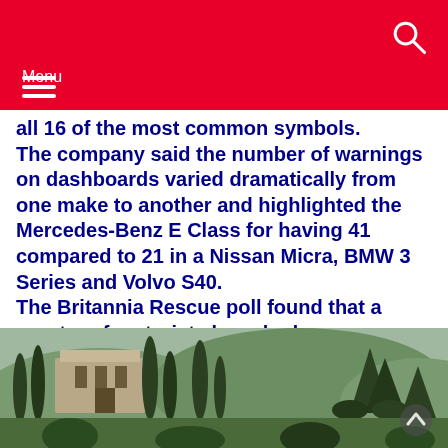Menu
all 16 of the most common symbols. The company said the number of warnings on dashboards varied dramatically from one make to another and highlighted the Mercedes-Benz E Class for having 41 compared to 21 in a Nissan Micra, BMW 3 Series and Volvo S40. The Britannia Rescue poll found that a quarter of motorists have had one or more warning symbols light up while driving in the past 12 months ? most commonly the engine, oil or battery lights.
[Figure (photo): Outdoor landscape photo showing tall cypress and pine trees in front of a stone building or villa, with a scenic countryside background.]